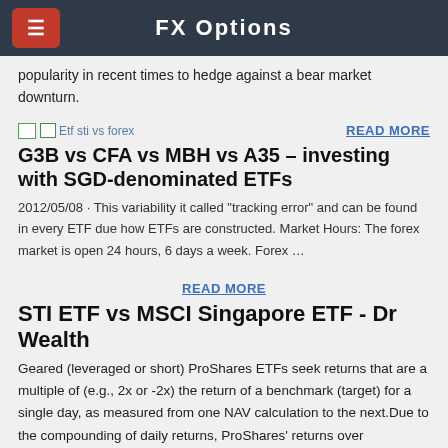FX Options
popularity in recent times to hedge against a bear market downturn.
Etf sti vs forex
READ MORE
G3B vs CFA vs MBH vs A35 – investing with SGD-denominated ETFs
2012/05/08 · This variability it called "tracking error" and can be found in every ETF due how ETFs are constructed. Market Hours: The forex market is open 24 hours, 6 days a week. Forex …
READ MORE
STI ETF vs MSCI Singapore ETF - Dr Wealth
Geared (leveraged or short) ProShares ETFs seek returns that are a multiple of (e.g., 2x or -2x) the return of a benchmark (target) for a single day, as measured from one NAV calculation to the next.Due to the compounding of daily returns, ProShares' returns over